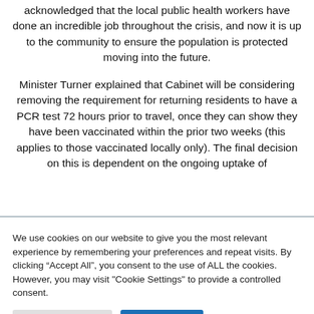acknowledged that the local public health workers have done an incredible job throughout the crisis, and now it is up to the community to ensure the population is protected moving into the future.
Minister Turner explained that Cabinet will be considering removing the requirement for returning residents to have a PCR test 72 hours prior to travel, once they can show they have been vaccinated within the prior two weeks (this applies to those vaccinated locally only). The final decision on this is dependent on the ongoing uptake of
We use cookies on our website to give you the most relevant experience by remembering your preferences and repeat visits. By clicking “Accept All”, you consent to the use of ALL the cookies. However, you may visit "Cookie Settings" to provide a controlled consent.